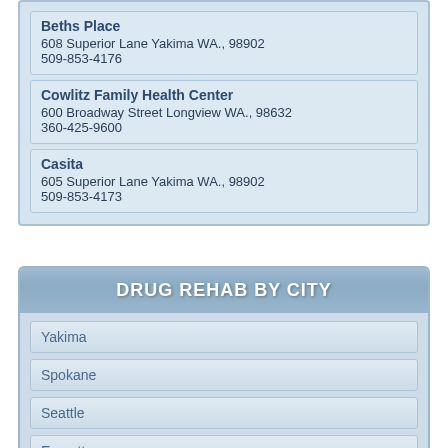Beths Place
608 Superior Lane Yakima WA., 98902
509-853-4176
Cowlitz Family Health Center
600 Broadway Street Longview WA., 98632
360-425-9600
Casita
605 Superior Lane Yakima WA., 98902
509-853-4173
DRUG REHAB BY CITY
Yakima
Spokane
Seattle
Everett